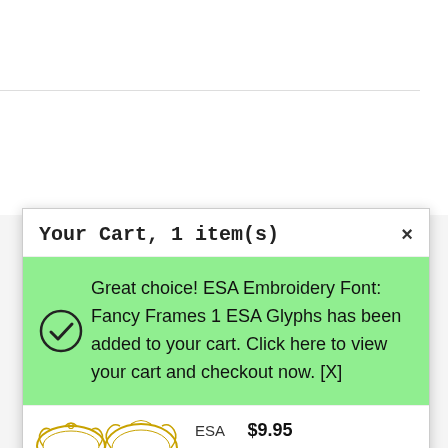[Figure (screenshot): Add to cart button (partially visible at top of page)]
Your Cart, 1 item(s)
Great choice! ESA Embroidery Font: Fancy Frames 1 ESA Glyphs has been added to your cart. Click here to view your cart and checkout now. [X]
[Figure (illustration): Gold decorative embroidery frames in ornate oval and heart shapes]
ESA  $9.95
Embroidery Font: Fancy Frames 1 ESA Glyphs
[Figure (illustration): Gold decorative embroidery frame (partial, bottom of page)]
Electronics 1
ESA Glyphs  $9.95